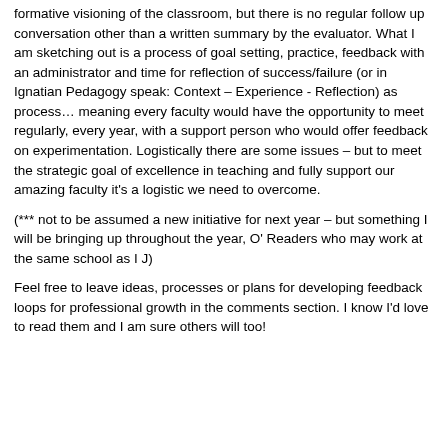formative visioning of the classroom, but there is no regular follow up conversation other than a written summary by the evaluator.  What I am sketching out is a process of goal setting, practice, feedback with an administrator and time for reflection of success/failure (or in Ignatian Pedagogy speak: Context – Experience - Reflection) as process… meaning every faculty would have the opportunity to meet regularly, every year, with a support person who would offer feedback on experimentation.  Logistically there are some issues – but to meet the strategic goal of excellence in teaching and fully support our amazing faculty it's a logistic we need to overcome.
(*** not to be assumed a new initiative for next year – but something I will be bringing up throughout the year, O' Readers who may work at the same school as I J)
Feel free to leave ideas, processes or plans for developing feedback loops for professional growth in the comments section.  I know I'd love to read them and I am sure others will too!